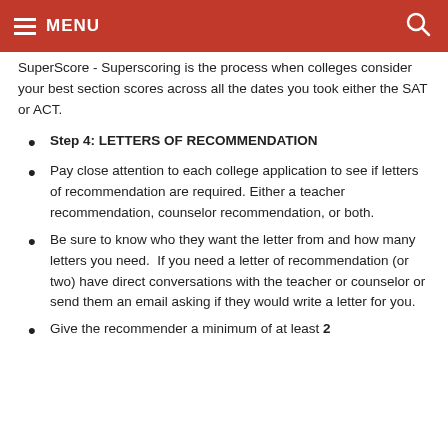MENU
SuperScore - Superscoring is the process when colleges consider your best section scores across all the dates you took either the SAT or ACT.
Step 4: LETTERS OF RECOMMENDATION
Pay close attention to each college application to see if letters of recommendation are required. Either a teacher recommendation, counselor recommendation, or both.
Be sure to know who they want the letter from and how many letters you need.  If you need a letter of recommendation (or two) have direct conversations with the teacher or counselor or send them an email asking if they would write a letter for you.
Give the recommender a minimum of at least 2